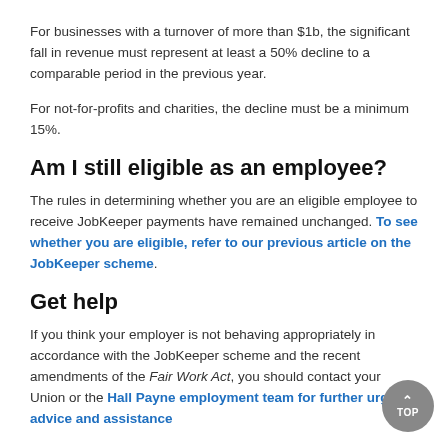For businesses with a turnover of more than $1b, the significant fall in revenue must represent at least a 50% decline to a comparable period in the previous year.
For not-for-profits and charities, the decline must be a minimum 15%.
Am I still eligible as an employee?
The rules in determining whether you are an eligible employee to receive JobKeeper payments have remained unchanged. To see whether you are eligible, refer to our previous article on the JobKeeper scheme.
Get help
If you think your employer is not behaving appropriately in accordance with the JobKeeper scheme and the recent amendments of the Fair Work Act, you should contact your Union or the Hall Payne employment team for further urgent advice and assistance